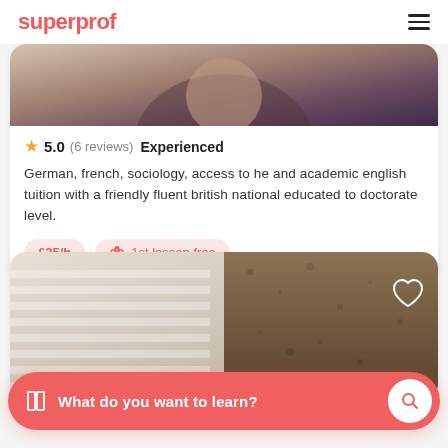superprof
[Figure (photo): Partial photo of a tutor, cropped at top of card]
5.0 (6 reviews) Experienced
German, french, sociology, access to he and academic english tuition with a friendly fluent british national educated to doctorate level.
£25/h  1st lesson free
[Figure (photo): Photo of a second tutor with blurred background, heart icon in top right]
What do you want to learn?